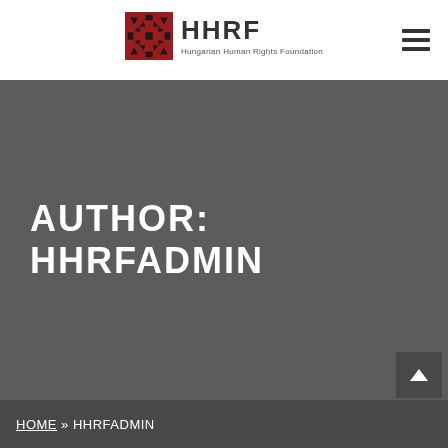[Figure (logo): HHRF - Hungarian Human Rights Foundation logo with red ornamental square icon and text]
AUTHOR: HHRFADMIN
HOME » HHRFADMIN